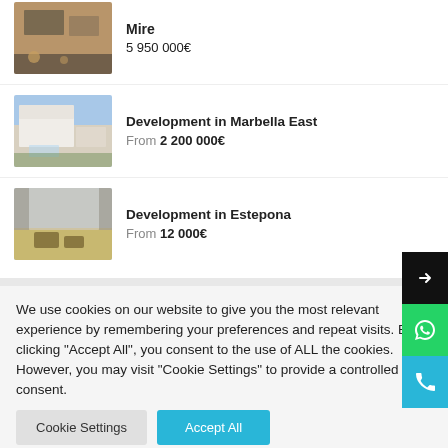Mire
5 950 000€
[Figure (photo): Partial view of a luxury property exterior, aerial or rooftop perspective]
Development in Marbella East
From 2 200 000€
[Figure (photo): Modern white villa with pool and landscaping, Marbella East development]
Development in Estepona
From 12 000€
[Figure (photo): Outdoor terrace/dining area with mountain or sea view, Estepona development]
We use cookies on our website to give you the most relevant experience by remembering your preferences and repeat visits. By clicking "Accept All", you consent to the use of ALL the cookies. However, you may visit "Cookie Settings" to provide a controlled consent.